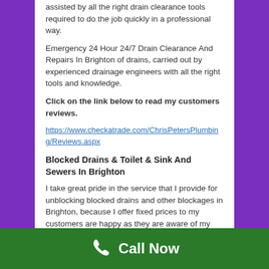assisted by all the right drain clearance tools required to do the job quickly in a professional way.
Emergency 24 Hour 24/7 Drain Clearance And Repairs In Brighton of drains, carried out by experienced drainage engineers with all the right tools and knowledge.
Click on the link below to read my customers reviews.
https://www.checkatrade.com/ChrisPetersPlumbing/Reviews.aspx
Blocked Drains & Toilet & Sink And Sewers In Brighton
I take great pride in the service that I provide for unblocking blocked drains and other blockages in Brighton, because I offer fixed prices to my customers are happy as they are aware of my charge before I even arrive.
Call Now